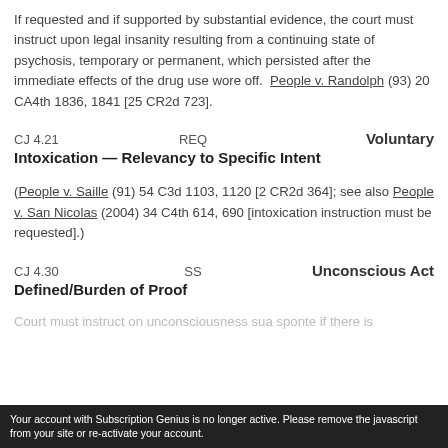If requested and if supported by substantial evidence, the court must instruct upon legal insanity resulting from a continuing state of psychosis, temporary or permanent, which persisted after the immediate effects of the drug use wore off.  People v. Randolph (93) 20 CA4th 1836, 1841 [25 CR2d 723].
CJ 4.21   REQ   Voluntary Intoxication — Relevancy to Specific Intent
(People v. Saille (91) 54 C3d 1103, 1120 [2 CR2d 364]; see also People v. San Nicolas (2004) 34 C4th 614, 690 [intoxication instruction must be requested].)
CJ 4.30   SS   Unconscious Act Defined/Burden of Proof
Court must instruct on unconsciousness sua sponte if there is
Your account with Subscription Genius is no longer active. Please remove the javascript from your site or re-activate your account.